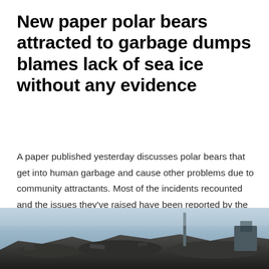New paper polar bears attracted to garbage dumps blames lack of sea ice without any evidence
A paper published yesterday discusses polar bears that get into human garbage and cause other problems due to community attractants. Most of the incidents recounted and the issues they've raised have been reported by the media and are ones I've discussed here over the last few years in detail, including here and here, as well as in my recent book (Crockford 2019).
[Figure (photo): Photograph of a garbage dump or landfill site, showing debris and waste against a grey sky backdrop]